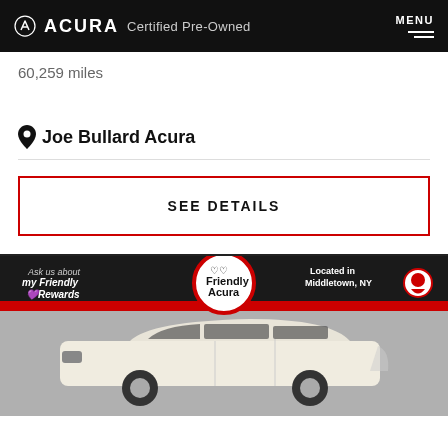ACURA Certified Pre-Owned  MENU
60,259 miles
Joe Bullard Acura
SEE DETAILS
[Figure (photo): Friendly Acura dealership advertisement banner showing a white Acura MDX SUV. Banner text: 'Ask us about My Friendly Rewards', 'Friendly Acura' logo in center circle, 'Located in Middletown, NY' on right with location pin icon.]